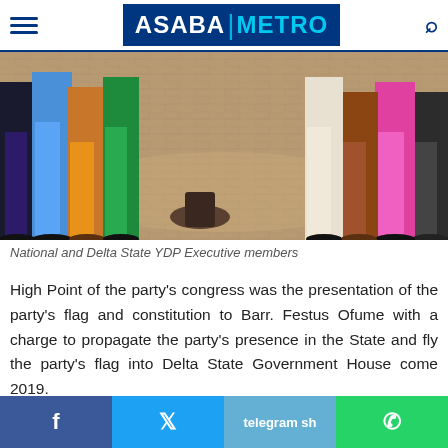ASABA METRO
[Figure (photo): Photo of people standing in a circle on a brick/paved outdoor area, showing their legs and lower bodies. A dark object is visible on the ground in the center. Participants appear to be wearing colorful traditional and modern attire.]
National and Delta State YDP Executive members
High Point of the party's congress was the presentation of the party's flag and constitution to Barr. Festus Ofume with a charge to propagate the party's presence in the State and fly the party's flag into Delta State Government House come 2019.